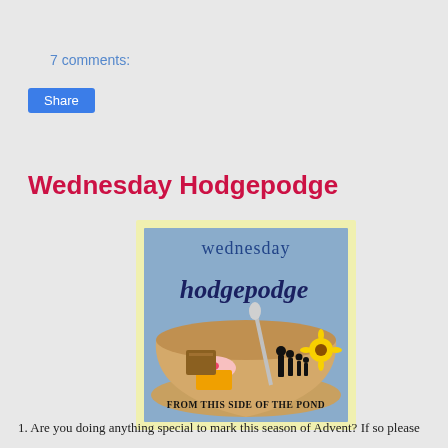7 comments:
Share
Wednesday Hodgepodge
[Figure (illustration): Wednesday Hodgepodge logo image showing a bowl filled with various items including a cupcake, books, family silhouettes, sunflower, and the text 'wednesday hodgepodge From This Side of the Pond' on a light blue background with a yellow border.]
1. Are you doing anything special to mark this season of Advent? If so please